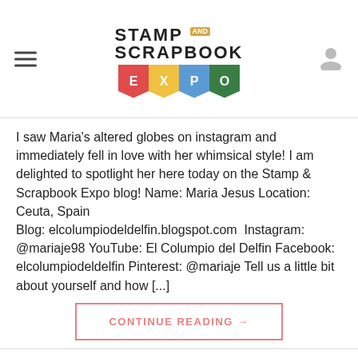STAMP AND SCRAPBOOK EXPO
I saw Maria's altered globes on instagram and immediately fell in love with her whimsical style! I am delighted to spotlight her here today on the Stamp & Scrapbook Expo blog! Name: Maria Jesus Location: Ceuta, Spain Blog: elcolumpiodeldelfin.blogspot.com  Instagram: @mariaje98 YouTube: El Columpio del Delfin Facebook: elcolumpiodeldelfin Pinterest: @mariaje Tell us a little bit about yourself and how [...]
CONTINUE READING →
Posted in Designer Spotlight, Scrapbooking, Spotlight | Tagged 12x12 layouts, Designer Spotlight, globe, maria jesus, Mini album